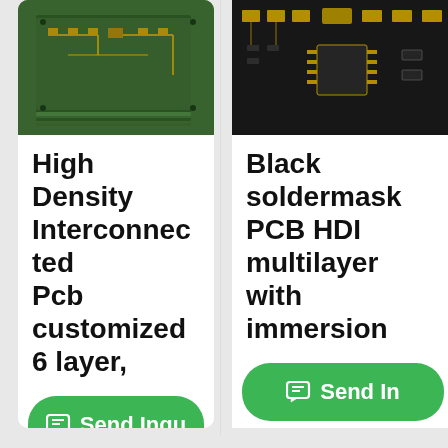[Figure (photo): Green PCB circuit board stack photo, top portion of left product card]
High Density Interconnected Pcb customized 6 layer,
Send Inqu
[Figure (photo): Black PCB circuit board with components, top portion of right product card]
Black soldermask PCB HDI multilayer with immersion
Send In